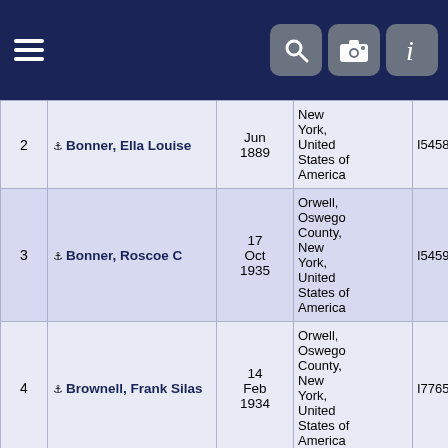Genealogy records table with navigation header
| # | Name | Date | Place | ID | Tree |
| --- | --- | --- | --- | --- | --- |
| 2 | Bonner, Ella Louise | Jun 1889 | New York, United States of America | I54588 | Tree2020 |
| 3 | Bonner, Roscoe C | 17 Oct 1935 | Orwell, Oswego County, New York, United States of America | I54597 | Tree2020 |
| 4 | Brownell, Frank Silas | 14 Feb 1934 | Orwell, Oswego County, New York, United States of America | I77651 | Tree2020 |
| 5 | Carpenter, Dewitt | 11 Apr | Orwell, Oswego County, New York | I73489 | Tree2020 |